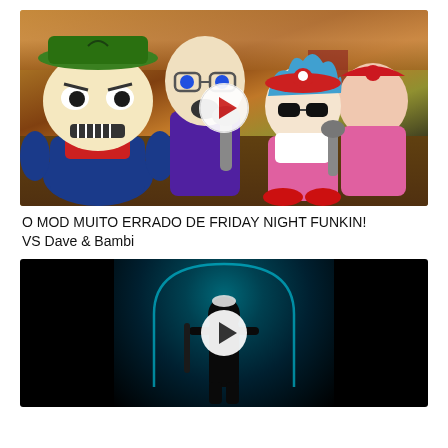[Figure (screenshot): Animated thumbnail for Friday Night Funkin VS Dave & Bambi mod showing cartoon characters with microphones on a farm background with a play button overlay]
O MOD MUITO ERRADO DE FRIDAY NIGHT FUNKIN! VS Dave & Bambi
[Figure (screenshot): Dark video thumbnail showing a silhouetted figure standing in a glowing archway/doorway with a play button overlay]